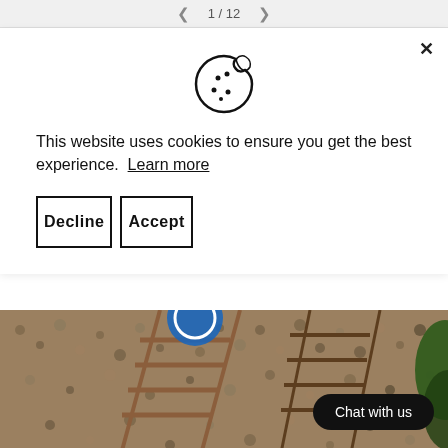< 1 / 12 >
[Figure (illustration): Cookie icon - a circle with a bite taken out of the upper right, with dots representing chocolate chips]
This website uses cookies to ensure you get the best experience. Learn more
Decline
Accept
[Figure (photo): Outdoor beach scene showing wooden deckchairs on a pebbly/gravel beach, with a blue and white circular logo visible in the top center, and green foliage on the far right]
Chat with us